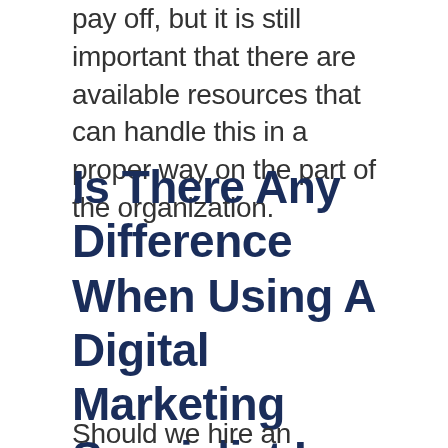pay off, but it is still important that there are available resources that can handle this in a proper way on the part of the organization.
Is There Any Difference When Using A Digital Marketing Specialist In Panama Compared To Working With This Inhouse?
Should we hire an agency f...